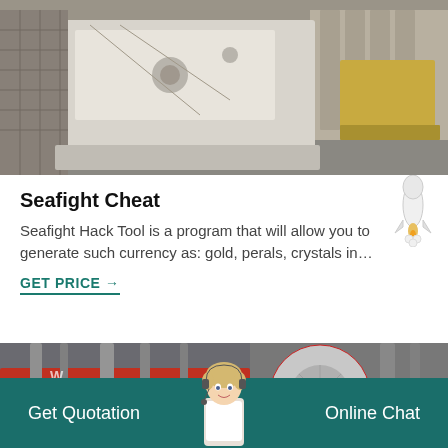[Figure (photo): Industrial machinery photo showing large white/cream colored crushing equipment in a factory setting with yellow machinery in the background]
Seafight Cheat
Seafight Hack Tool is a program that will allow you to generate such currency as: gold, perals, crystals in…
GET PRICE →
[Figure (photo): Industrial machinery showing a large red and white flywheel/pulley mechanism with pipes and metal structures in background]
Get Quotation    Online Chat